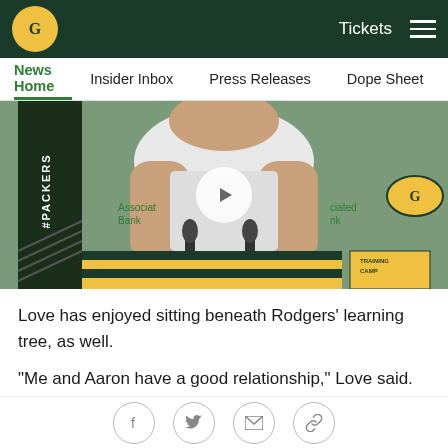Green Bay Packers website header with logo, Tickets link, and hamburger menu
News Home | Insider Inbox | Press Releases | Dope Sheet | Game
[Figure (screenshot): Video thumbnail of a Green Bay Packers player at a press conference podium with microphones, Associated Bank branding visible in background, Training Camp graphic in lower right, play button overlay]
Love has enjoyed sitting beneath Rodgers' learning tree, as well.
"Me and Aaron have a good relationship," Love said. "Obviously, it's kind of like the Master and the Padawan kind of thing. Just trying to learn as much as I can from
Social sharing icons: Facebook, Twitter, Email, Link